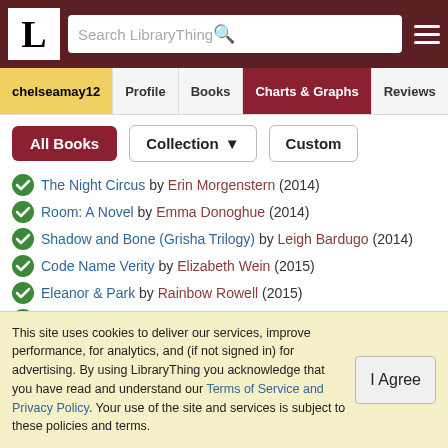LibraryThing header with logo, search bar, and hamburger menu
Navigation tabs: chelseamay12 | Profile | Books | Charts & Graphs | Reviews
All Books | Collection ▼ | Custom
The Night Circus by Erin Morgenstern (2014)
Room: A Novel by Emma Donoghue (2014)
Shadow and Bone (Grisha Trilogy) by Leigh Bardugo (2014)
Code Name Verity by Elizabeth Wein (2015)
Eleanor & Park by Rainbow Rowell (2015)
Throne of Glass (Collector's Edition) by Sarah J. Maas (2015)
Academy Award for Writing Adapted...
This site uses cookies to deliver our services, improve performance, for analytics, and (if not signed in) for advertising. By using LibraryThing you acknowledge that you have read and understand our Terms of Service and Privacy Policy. Your use of the site and services is subject to these policies and terms.